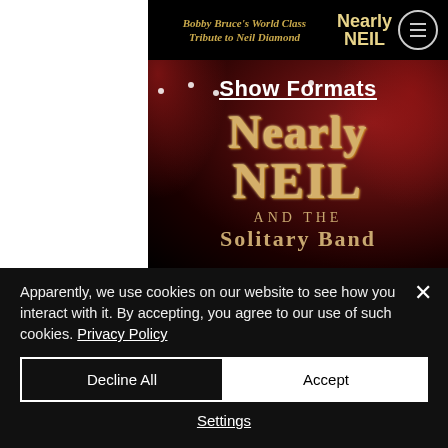[Figure (screenshot): Website screenshot of 'Nearly Neil' tribute show page showing header with 'Bobby Bruce's World Class Tribute to Neil Diamond' text and Nearly NEIL logo with menu icon, followed by a dark stage background with 'Show Formats' title underlined, and large glittery 'Nearly NEIL AND THE Solitary Band' text on stage background with red spotlights.]
Apparently, we use cookies on our website to see how you interact with it. By accepting, you agree to our use of such cookies. Privacy Policy
Decline All
Accept
Settings